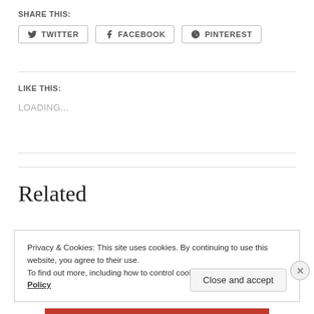SHARE THIS:
TWITTER   FACEBOOK   PINTEREST
LIKE THIS:
LOADING...
Related
Privacy & Cookies: This site uses cookies. By continuing to use this website, you agree to their use.
To find out more, including how to control cookies, see here: Cookie Policy
Close and accept